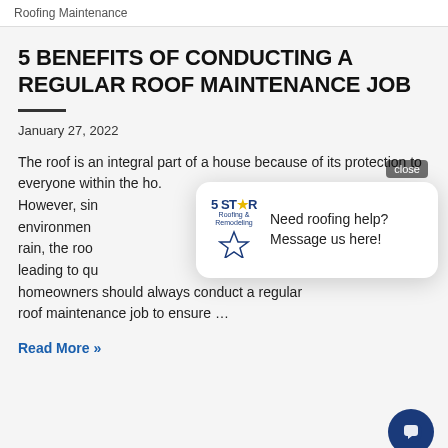Roofing Maintenance
5 BENEFITS OF CONDUCTING A REGULAR ROOF MAINTENANCE JOB
January 27, 2022
The roof is an integral part of a house because of its protection to everyone within the ho. However, sin environment rain, the roo leading to qu homeowners should always conduct a regular roof maintenance job to ensure …
Read More »
[Figure (other): Chat popup widget from 5 Star Roofing with logo and message 'Need roofing help? Message us here!' with a close button and a dark blue circular chat FAB button]